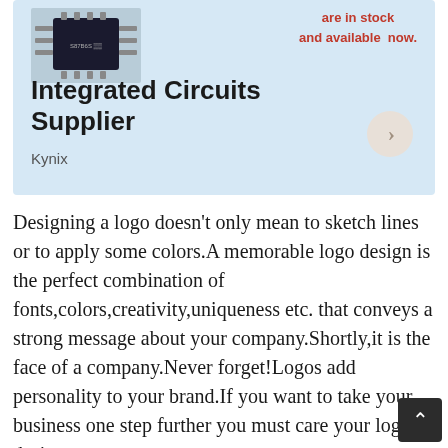[Figure (screenshot): Advertisement banner for Kynix Integrated Circuits Supplier with a chip image, text 'are in stock and available now.' in red, title 'Integrated Circuits Supplier', brand name 'Kynix', and a right-arrow button.]
Designing a logo doesn't only mean to sketch lines or to apply some colors.A memorable logo design is the perfect combination of fonts,colors,creativity,uniqueness etc. that conveys a strong message about your company.Shortly,it is the face of a company.Never forget!Logos add personality to your brand.If you want to take your business one step further you must care your logo design.